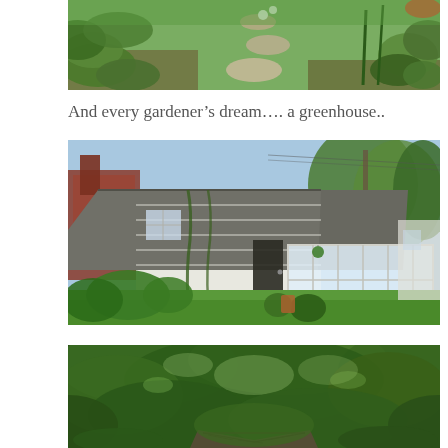[Figure (photo): Garden path with lush green plants and hostas on either side, stepping stones visible, white flowers in background]
And every gardener’s dream…. a greenhouse..
[Figure (photo): A white house with a greenhouse/sunroom addition attached, gray shingle roof, green lawn, surrounded by trees]
[Figure (photo): Dense green garden canopy viewed from below, lush trees and foliage overhead]